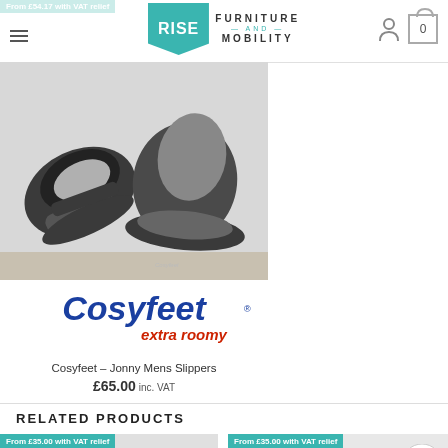Rise Furniture and Mobility — navigation header with logo
From £54.17 with VAT relief
[Figure (photo): Cosyfeet Jonny mens slippers in dark grey/charcoal with velcro strap, shown from above on a light background. Cosyfeet 'extra roomy' logo in blue and red at bottom of image.]
Cosyfeet – Jonny Mens Slippers
£65.00 inc. VAT
RELATED PRODUCTS
From £35.00 with VAT relief
[Figure (photo): Cosyfeet slipper product with Cosyfeet approved socks logo — related product thumbnail]
From £35.00 with VAT relief
[Figure (photo): Cosyfeet floral/multicolored footwear product — related product thumbnail]